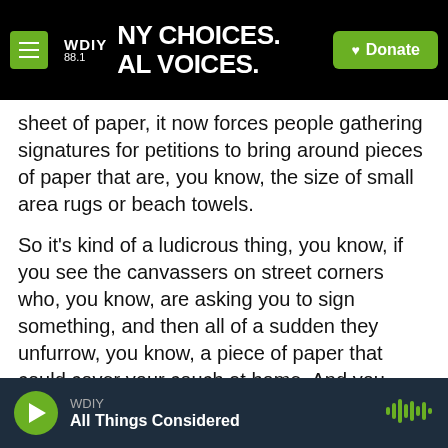WDIY 88.1 | NY CHOICES. LOCAL VOICES. | Donate
sheet of paper, it now forces people gathering signatures for petitions to bring around pieces of paper that are, you know, the size of small area rugs or beach towels.
So it's kind of a ludicrous thing, you know, if you see the canvassers on street corners who, you know, are asking you to sign something, and then all of a sudden they unfurrow, you know, a piece of paper that could cover your couch at home. And you have to find a place to sign it. That's going to make it pretty hard to, A, be taken seriously and, B, find enough signatures and enough people to get this
WDIY | All Things Considered